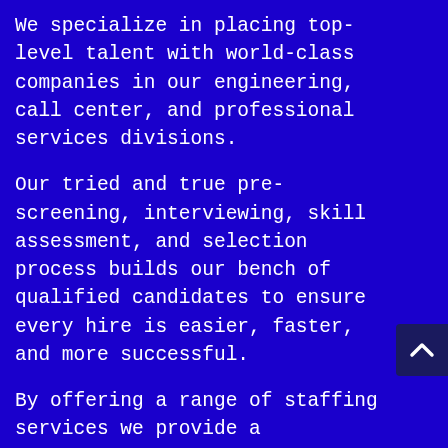We specialize in placing top-level talent with world-class companies in our engineering, call center, and professional services divisions.
Our tried and true pre-screening, interviewing, skill assessment, and selection process builds our bench of qualified candidates to ensure every hire is easier, faster, and more successful.
By offering a range of staffing services we provide a customized solution for your staffing needs. Our solutions bring efficient, effective and cost reducing results to your bottom line.
Working with Precision Staffing streamlines your hiring process to be more effective and cost reducing.